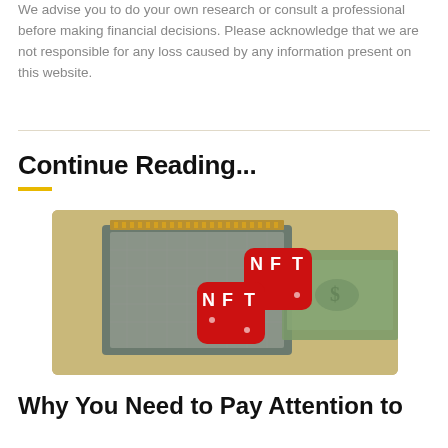We advise you to do your own research or consult a professional before making financial decisions. Please acknowledge that we are not responsible for any loss caused by any information present on this website.
Continue Reading...
[Figure (photo): Photo of red dice with 'NFT' text on them placed on top of a CPU processor chip, surrounded by US dollar bills]
Why You Need to Pay Attention to